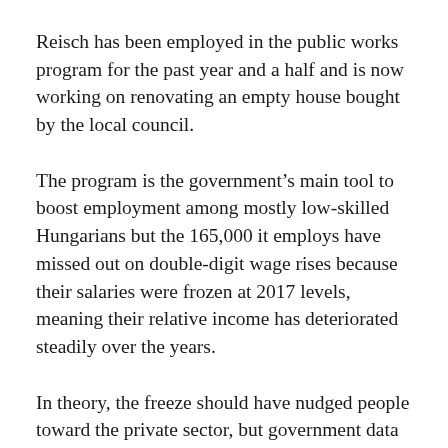Reisch has been employed in the public works program for the past year and a half and is now working on renovating an empty house bought by the local council.
The program is the government's main tool to boost employment among mostly low-skilled Hungarians but the 165,000 it employs have missed out on double-digit wage rises because their salaries were frozen at 2017 levels, meaning their relative income has deteriorated steadily over the years.
In theory, the freeze should have nudged people toward the private sector, but government data shows few of the participants have found long-term jobs elsewhere and many remain stuck, lacking the sufficient skills, or